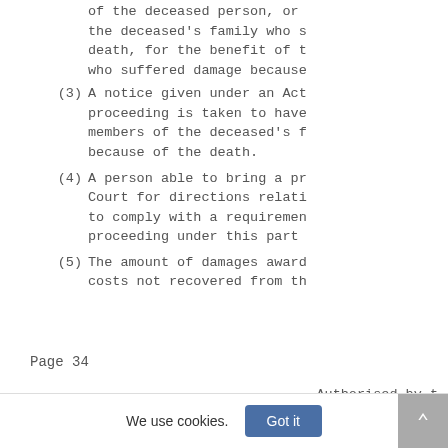of the deceased person, or the deceased's family who s death, for the benefit of t who suffered damage because
(3) A notice given under an Act proceeding is taken to have members of the deceased's f because of the death.
(4) A person able to bring a pr Court for directions relati to comply with a requiremen proceeding under this part
(5) The amount of damages award costs not recovered from th
Page 34
Authorised by t